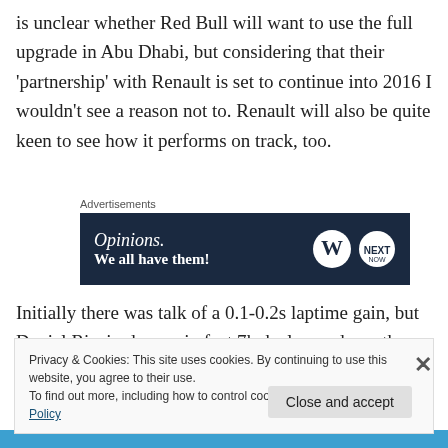is unclear whether Red Bull will want to use the full upgrade in Abu Dhabi, but considering that their 'partnership' with Renault is set to continue into 2016 I wouldn't see a reason not to. Renault will also be quite keen to see how it performs on track, too.
[Figure (other): Advertisement banner with dark navy background showing 'Opinions. We all have them!' with WordPress and another logo on the right side]
Initially there was talk of a 0.1-0.2s laptime gain, but Daniel Ricciardo was in fact 7kph slower down the main
Privacy & Cookies: This site uses cookies. By continuing to use this website, you agree to their use.
To find out more, including how to control cookies, see here: Cookie Policy